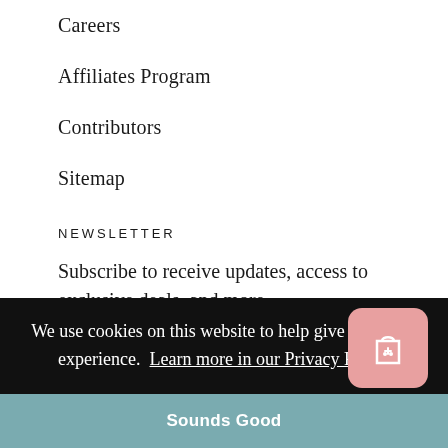Careers
Affiliates Program
Contributors
Sitemap
NEWSLETTER
Subscribe to receive updates, access to exclusive deals, and more.
We use cookies on this website to help give a modern experience. Learn more in our Privacy Policy
Sounds Good